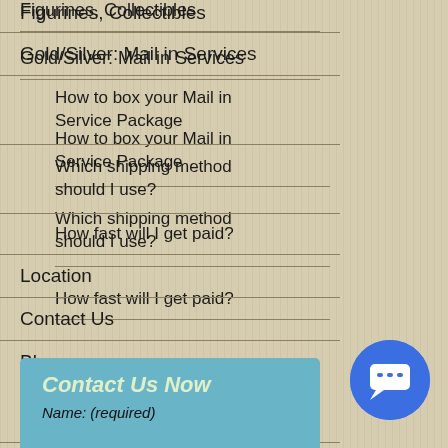Figurines, Collectibles
Gold/Silver: Mail in Services
How to box your Mail in Service Package
Which shipping method should I use?
How fast will I get paid?
Location
Contact Us
Blog
SpegTacular You Tube Premieres
Contact Us Now
Name: (required)